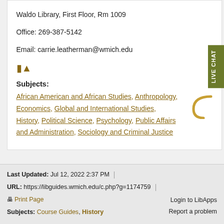Waldo Library, First Floor, Rm 1009
Office: 269-387-5142
Email: carrie.leatherman@wmich.edu
Subjects:
African American and African Studies, Anthropology, Economics, Global and International Studies, History, Political Science, Psychology, Public Affairs and Administration, Sociology and Criminal Justice
Last Updated: Jul 12, 2022 2:37 PM | URL: https://libguides.wmich.edu/c.php?g=1174759 | Print Page | Login to LibApps | Report a problem | Subjects: Course Guides, History